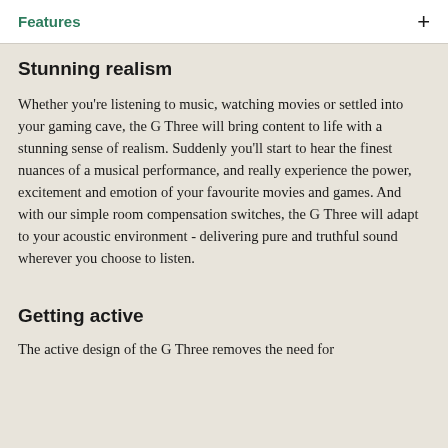Features
Stunning realism
Whether you're listening to music, watching movies or settled into your gaming cave, the G Three will bring content to life with a stunning sense of realism. Suddenly you'll start to hear the finest nuances of a musical performance, and really experience the power, excitement and emotion of your favourite movies and games. And with our simple room compensation switches, the G Three will adapt to your acoustic environment - delivering pure and truthful sound wherever you choose to listen.
Getting active
The active design of the G Three removes the need for